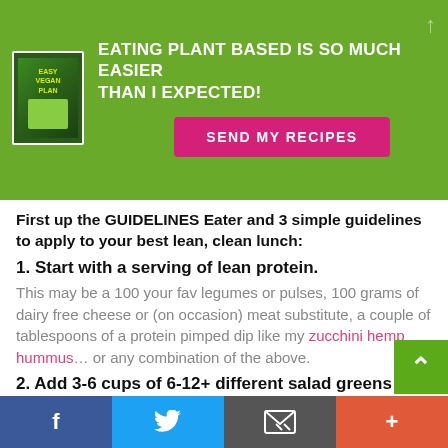[Figure (other): Green promotional banner with book cover image, headline text 'EATING PLANT BASED IS SO MUCH EASIER THAN I EXPECTED!', a pink 'SEND MY RECIPES' button, and an up arrow icon]
First up the GUIDELINES Eater and 3 simple guidelines to apply to your best lean, clean lunch:
1. Start with a serving of lean protein.
This may be a 100 your fav legumes or pulses, 100 grams of dairy free cheese or (on occasion) meat substitute, a couple of tablespoons of a protein pimped dip like my zucchini hemp hummus… or any combination of the above.
2. Add 3-6 cups of 6-12+ different salad greens and fibrous veg.
[Figure (other): Social sharing bar with Facebook, Twitter, email, and plus buttons]